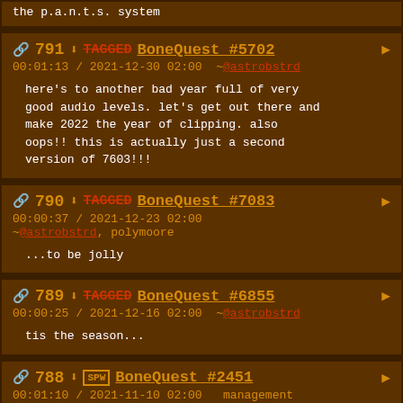the p.a.n.t.s. system
791 BoneQuest #5702 | 00:01:13 / 2021-12-30 02:00 ~@astrobstrd | here's to another bad year full of very good audio levels. let's get out there and make 2022 the year of clipping. also oops!! this is actually just a second version of 7603!!!
790 BoneQuest #7083 | 00:00:37 / 2021-12-23 02:00 ~@astrobstrd, polymoore | ...to be jolly
789 BoneQuest #6855 | 00:00:25 / 2021-12-16 02:00 ~@astrobstrd | tis the season...
788 SPW BoneQuest #2451 | 00:01:10 / 2021-11-10 02:00 management